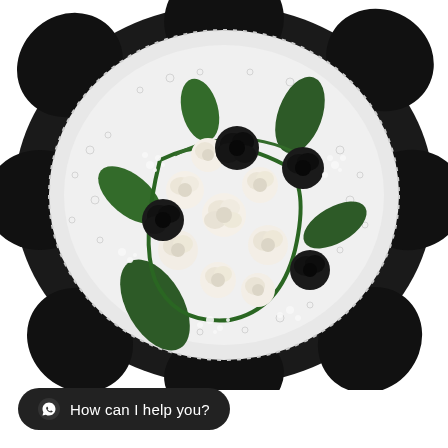[Figure (photo): A round bouquet of black and white roses viewed from above, wrapped in black paper and white lace/mesh netting. The arrangement features several dark black roses interspersed among cream/white roses, with green leaves and small white baby's breath flowers. The bouquet is set against a white background.]
How can I help you?